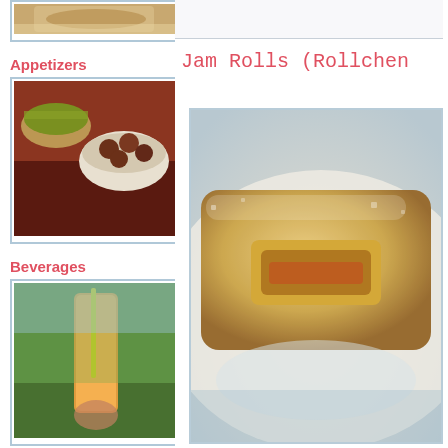[Figure (photo): Thumbnail of food item (partial, top of page) in left column]
Jam Rolls (Rollchen
Appetizers
[Figure (photo): Appetizers thumbnail showing meatballs and green salad in bowls]
Beverages
[Figure (photo): Beverages thumbnail showing orange drink with straw on green background]
Bread for the Journey
[Figure (photo): Bread for the Journey thumbnail showing open book on field at dusk]
[Figure (photo): Main large photo of jam rolls/rollchen close-up on white plate]